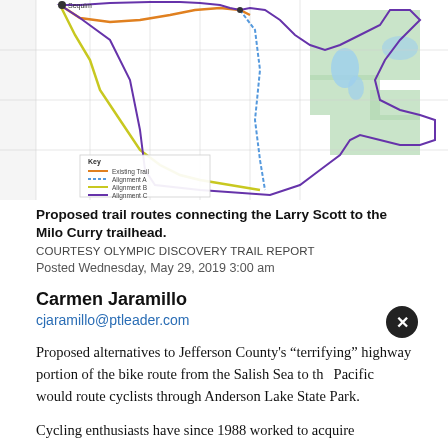[Figure (map): A trail map showing proposed trail routes connecting the Larry Scott trail to the Milo Curry trailhead in Jefferson County, with colored lines indicating existing trail and alignments A, B, C, and green shaded areas for parks/conservation land.]
Proposed trail routes connecting the Larry Scott to the Milo Curry trailhead.
COURTESY OLYMPIC DISCOVERY TRAIL REPORT
Posted Wednesday, May 29, 2019 3:00 am
Carmen Jaramillo
cjaramillo@ptleader.com
Proposed alternatives to Jefferson County's “terrifying” highway portion of the bike route from the Salish Sea to the Pacific would route cyclists through Anderson Lake State Park.
Cycling enthusiasts have since 1988 worked to acquire